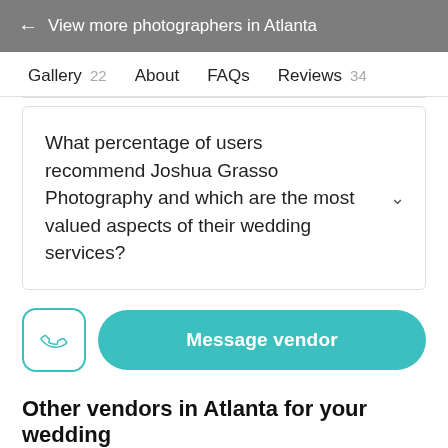← View more photographers in Atlanta
Gallery 22   About   FAQs   Reviews 34
What percentage of users recommend Joshua Grasso Photography and which are the most valued aspects of their wedding services?
Message vendor
Other vendors in Atlanta for your wedding
Wedding Vendors